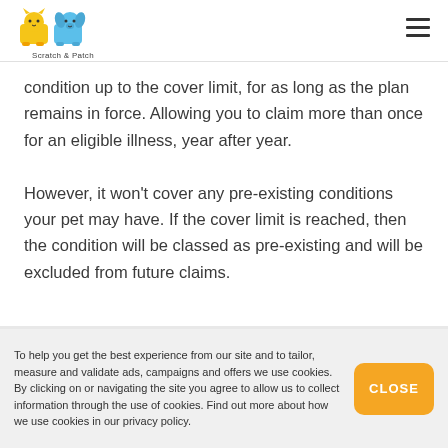Scratch & Patch
condition up to the cover limit, for as long as the plan remains in force. Allowing you to claim more than once for an eligible illness, year after year.
However, it won't cover any pre-existing conditions your pet may have. If the cover limit is reached, then the condition will be classed as pre-existing and will be excluded from future claims.
To help you get the best experience from our site and to tailor, measure and validate ads, campaigns and offers we use cookies. By clicking on or navigating the site you agree to allow us to collect information through the use of cookies. Find out more about how we use cookies in our privacy policy.